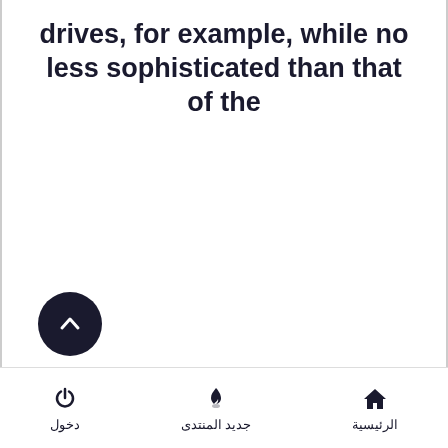drives, for example, while no less sophisticated than that of the
[Figure (other): Scroll-to-top button: a black circle with a white upward chevron arrow]
الرئيسية | جديد المنتدى | دخول